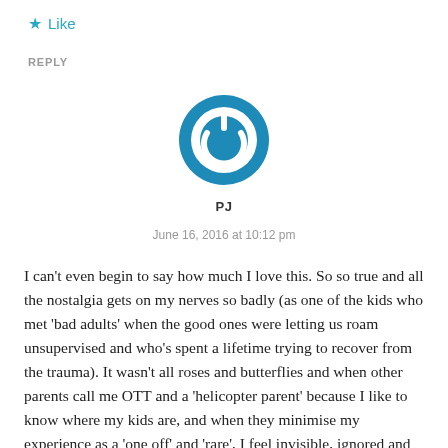★ Like
REPLY
[Figure (logo): Circular blue power button icon — avatar for user PJ]
PJ
June 16, 2016 at 10:12 pm
I can't even begin to say how much I love this. So so true and all the nostalgia gets on my nerves so badly (as one of the kids who met 'bad adults' when the good ones were letting us roam unsupervised and who's spent a lifetime trying to recover from the trauma). It wasn't all roses and butterflies and when other parents call me OTT and a 'helicopter parent' because I like to know where my kids are, and when they minimise my experience as a 'one off' and 'rare', I feel invisible, ignored and silenced. One